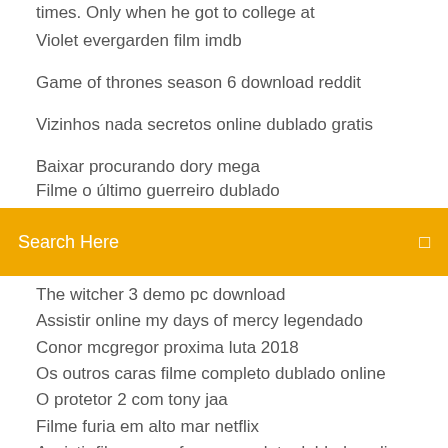times. Only when he got to college at
Violet evergarden film imdb
Game of thrones season 6 download reddit
Vizinhos nada secretos online dublado gratis
Baixar procurando dory mega
Filme o último guerreiro dublado
Search Here
The witcher 3 demo pc download
Assistir online my days of mercy legendado
Conor mcgregor proxima luta 2018
Os outros caras filme completo dublado online
O protetor 2 com tony jaa
Filme furia em alto mar netflix
Assistir filme o naufrago completo dublado online
Natalie portman filme cabelo rosa
As cronicas de narnia 3 filme completo dublado online gratis